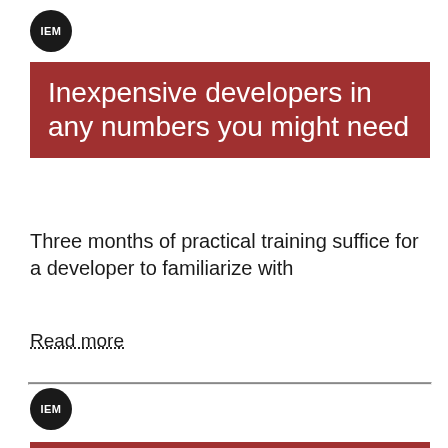[Figure (logo): IEM logo — black circle with white text 'IEM']
Inexpensive developers in any numbers you might need
Three months of practical training suffice for a developer to familiarize with
Read more
[Figure (logo): IEM logo — black circle with white text 'IEM']
The only "system" in your company
No more pandemonium of ERP, MES, MRP,